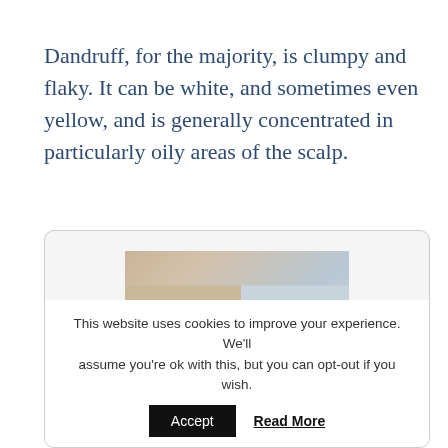Dandruff, for the majority, is clumpy and flaky. It can be white, and sometimes even yellow, and is generally concentrated in particularly oily areas of the scalp.
[Figure (photo): Photo of a person viewed from behind showing their scalp and hair, inside a rounded card container]
This website uses cookies to improve your experience. We'll assume you're ok with this, but you can opt-out if you wish.
Accept   Read More